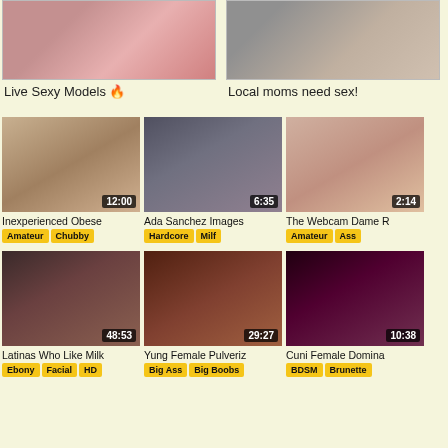[Figure (photo): Live Sexy Models promotional banner thumbnail]
Live Sexy Models 🔥
[Figure (photo): Local moms need sex! promotional banner thumbnail]
Local moms need sex!
[Figure (photo): Inexperienced Obese video thumbnail, duration 12:00]
Inexperienced Obese
Amateur  Chubby
[Figure (photo): Ada Sanchez Images video thumbnail, duration 6:35]
Ada Sanchez Images
Hardcore  Milf
[Figure (photo): The Webcam Dame R... video thumbnail, duration 2:14]
The Webcam Dame R
Amateur  Ass
[Figure (photo): Latinas Who Like Milk video thumbnail, duration 48:53]
Latinas Who Like Milk
Ebony  Facial  HD
[Figure (photo): Yung Female Pulveriz... video thumbnail, duration 29:27]
Yung Female Pulveriz
Big Ass  Big Boobs
[Figure (photo): Cuni Female Domina... video thumbnail, duration 10:38]
Cuni Female Domina
BDSM  Brunette